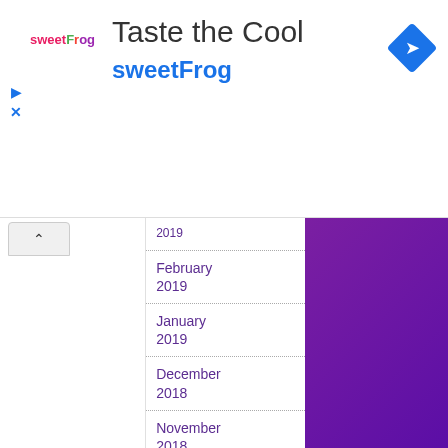[Figure (infographic): sweetFrog advertisement banner with logo, 'Taste the Cool' headline, brand name in blue, share icon (blue diamond with arrow), and play/close controls on left]
2019 (partial, cut off)
February 2019
January 2019
December 2018
November 2018
October 2018
September 2018
August 2018
July 2018
June 2018